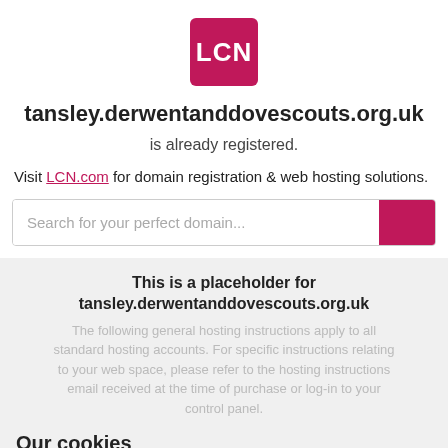[Figure (logo): LCN logo: pink/magenta rounded square with white bold text 'LCN']
tansley.derwentanddovescouts.org.uk
is already registered.
Visit LCN.com for domain registration & web hosting solutions.
[Figure (other): Search bar with placeholder text 'Search for your perfect domain...' and a magenta search button]
This is a placeholder for tansley.derwentanddovescouts.org.uk
The following general hosting instructions apply to all standard hosting accounts. For specific instructions relating to your web space, please refer to the hosting instructions email received at the time of purchase or log-in to your control panel.
Our cookies
This website uses cookies to help improve your experience. By using our website you accept our